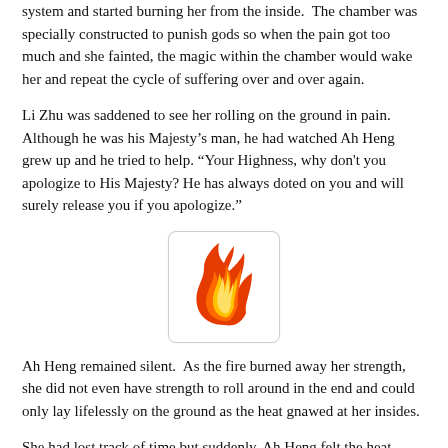system and started burning her from the inside.  The chamber was specially constructed to punish gods so when the pain got too much and she fainted, the magic within the chamber would wake her and repeat the cycle of suffering over and over again.
Li Zhu was saddened to see her rolling on the ground in pain.  Although he was his Majesty's man, he had watched Ah Heng grew up and he tried to help. "Your Highness, why don't you apologize to His Majesty? He has always doted on you and will surely release you if you apologize."
[Figure (illustration): Flame emoji illustration inside a rounded rectangle box]
Ah Heng remained silent.  As the fire burned away her strength, she did not even have strength to roll around in the end and could only lay lifelessly on the ground as the heat gnawed at her insides.
She had lost track of time but suddenly, Ah Heng felt the heat dissipating somewhat, as if a shower has just passed over a forest fire. When she crack opened her eyes, she saw a wall of water pushing back